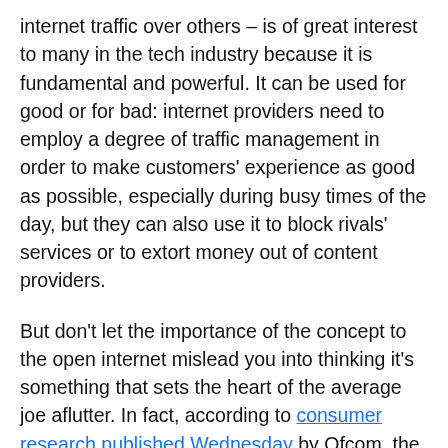internet traffic over others – is of great interest to many in the tech industry because it is fundamental and powerful. It can be used for good or for bad: internet providers need to employ a degree of traffic management in order to make customers' experience as good as possible, especially during busy times of the day, but they can also use it to block rivals' services or to extort money out of content providers.
But don't let the importance of the concept to the open internet mislead you into thinking it's something that sets the heart of the average joe aflutter. In fact, according to consumer research published Wednesday by Ofcom, the British telecoms regulator, almost everyone couldn't care less about traffic management.
To be precise, the Kantar Media researchers commissioned by Ofcom found just one percent of